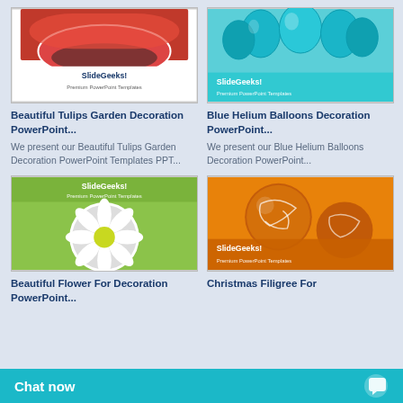[Figure (screenshot): SlideGeeks! Premium PowerPoint Templates - Beautiful Tulips Garden thumbnail with red tulips]
[Figure (screenshot): SlideGeeks! Premium PowerPoint Templates - Blue Helium Balloons thumbnail with teal balloons]
Beautiful Tulips Garden Decoration PowerPoint...
Blue Helium Balloons Decoration PowerPoint...
We present our Beautiful Tulips Garden Decoration PowerPoint Templates PPT...
We present our Blue Helium Balloons Decoration PowerPoint...
[Figure (screenshot): SlideGeeks! Premium PowerPoint Templates - Beautiful Flower (daisy) thumbnail on green background]
[Figure (screenshot): SlideGeeks! Premium PowerPoint Templates - Christmas Filigree ornaments thumbnail]
Beautiful Flower For Decoration PowerPoint...
Christmas Filigree For
Chat now